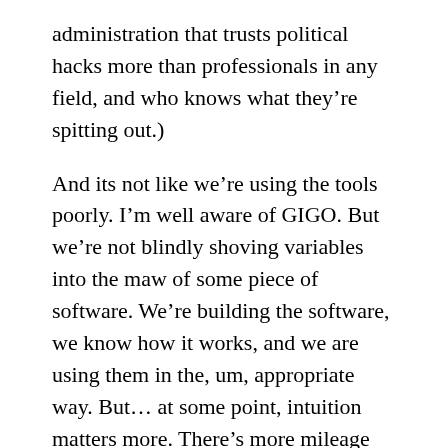administration that trusts political hacks more than professionals in any field, and who knows what they’re spitting out.)
And its not like we’re using the tools poorly. I’m well aware of GIGO. But we’re not blindly shoving variables into the maw of some piece of software. We’re building the software, we know how it works, and we are using them in the, um, appropriate way. But… at some point, intuition matters more. There’s more mileage from creating the right variables than from using the best tools.
Here’s an example… with a satellite, as a general rule, mass is highly correlated with cost. (The way in which it is correlated changes over time. The